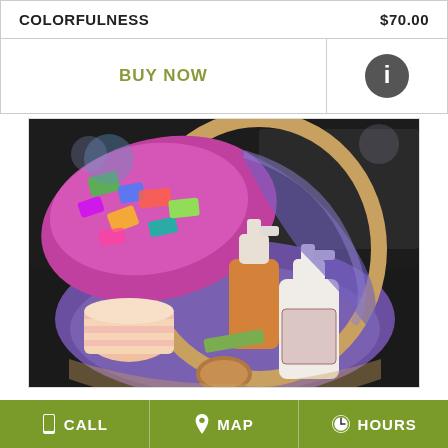COLORFULNESS   $70.00
BUY NOW
[Figure (photo): Gift basket with colorful patterned fabric/scarf, lotion bottles with pump dispensers, decorated boxes, arranged in a wicker basket with purple lining on a dark background.]
CALL   MAP   HOURS